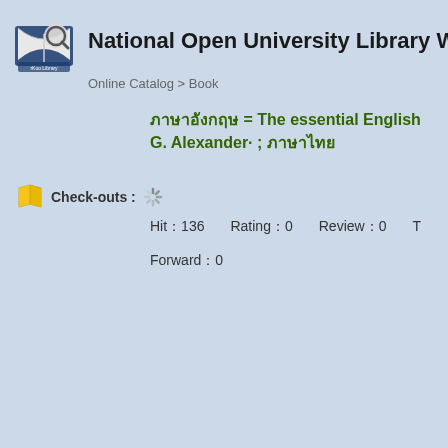National Open University Library W
Online Catalog > Book
ภาษาอังกฤษ = The essential English... G. Alexander ; แปลโดย
Check-outs :
Hit：136    Rating：0    Review：0    T    Forward：0